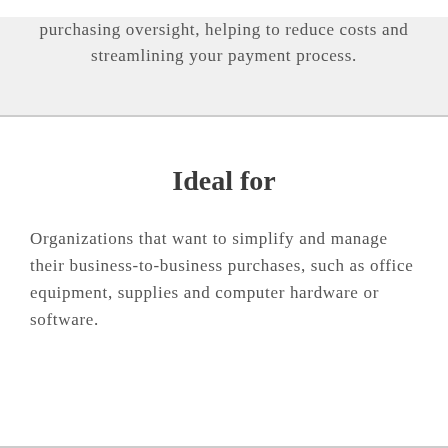Organization's performance by increasing your purchasing oversight, helping to reduce costs and streamlining your payment process.
Ideal for
Organizations that want to simplify and manage their business-to-business purchases, such as office equipment, supplies and computer hardware or software.